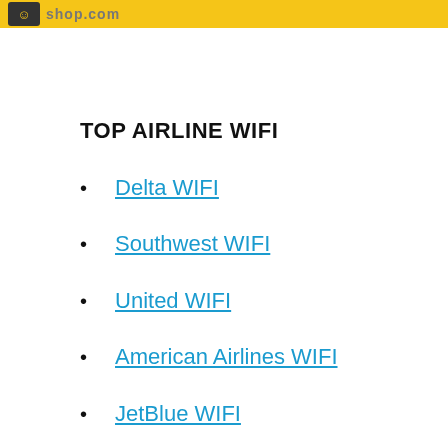[Figure (logo): Yellow banner with dark icon and partial text on the right side]
TOP AIRLINE WIFI
Delta WIFI
Southwest WIFI
United WIFI
American Airlines WIFI
JetBlue WIFI
Frontier WIFI